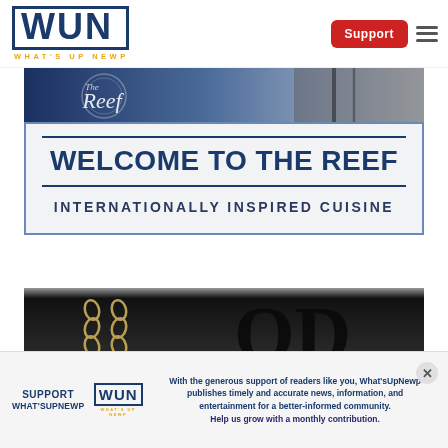WUN WHAT'S UP NEWP | Support
[Figure (photo): The Reef restaurant banner image with cursive logo on dark navy/grey background]
WELCOME TO THE REEF
INTERNATIONALLY INSPIRED CUISINE
[Figure (photo): Second banner image showing chains and large letters on dark background]
SUPPORT WHAT'SUPNEWP
With the generous support of readers like you, What'sUpNewp publishes timely and accurate news, information, and entertainment for a better-informed community.
Help us grow with a monthly contribution.